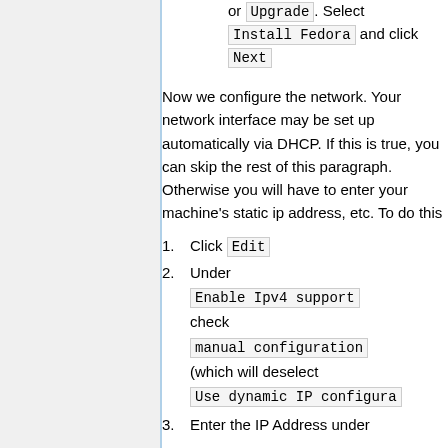or Upgrade. Select Install Fedora and click Next
Now we configure the network. Your network interface may be set up automatically via DHCP. If this is true, you can skip the rest of this paragraph. Otherwise you will have to enter your machine's static ip address, etc. To do this
1. Click Edit
2. Under Enable Ipv4 support check manual configuration (which will deselect Use dynamic IP configuration
3. Enter the IP Address under